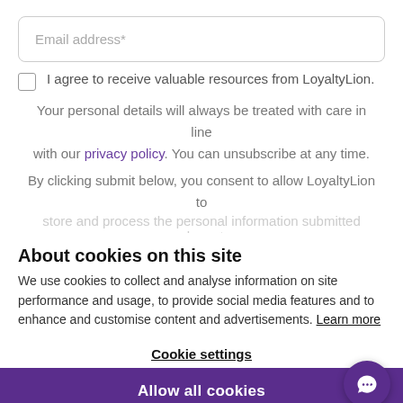Email address*
I agree to receive valuable resources from LoyaltyLion.
Your personal details will always be treated with care in line with our privacy policy. You can unsubscribe at any time.
By clicking submit below, you consent to allow LoyaltyLion to store and process the personal information submitted above to provide you the content requested.
About cookies on this site
We use cookies to collect and analyse information on site performance and usage, to provide social media features and to enhance and customise content and advertisements. Learn more
Cookie settings
Allow all cookies